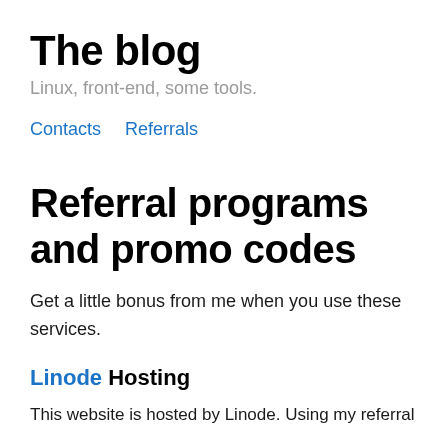The blog
Linux, front-end, some tools.
Contacts
Referrals
Referral programs and promo codes
Get a little bonus from me when you use these services.
Linode Hosting
This website is hosted by Linode. Using my referral